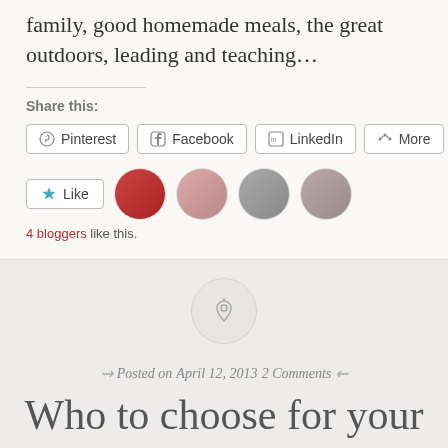family, good homemade meals, the great outdoors, leading and teaching…
Share this:
Pinterest | Facebook | LinkedIn | More
Like
4 bloggers like this.
[Figure (other): WordPress pin/pushpin icon inside a circular grey button]
Posted on April 12, 2013 2 Comments
Who to choose for your bridal party?